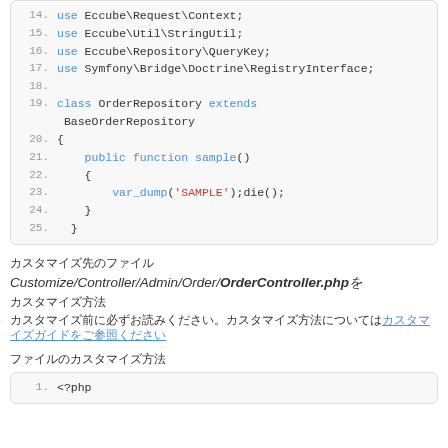[Figure (screenshot): Code block showing PHP lines 14-25 with syntax highlighting, including use statements and class OrderRepository extends BaseOrderRepository with a public function sample() containing var_dump('SAMPLE');die();]
カスタマイズ先のファイル
Customize/Controller/Admin/Order/OrderController.phpを
カスタマイズ方法
カスタマイズ前に必ずお読みください。カスタマイズ方法についてはカスタマイズガイドをご参照ください。
ファイルのカスタマイズ方法
[Figure (screenshot): Code block beginning with line 1: <?php]